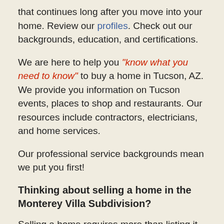that continues long after you move into your home. Review our profiles. Check out our backgrounds, education, and certifications.
We are here to help you “know what you need to know” to buy a home in Tucson, AZ. We provide you information on Tucson events, places to shop and restaurants. Our resources include contractors, electricians, and home services.
Our professional service backgrounds mean we put you first!
Thinking about selling a home in the Monterey Villa Subdivision?
Selling a home requires more than listing it in the Tucson MLS system. It’s about marketing. Marketing through multiple online channels.